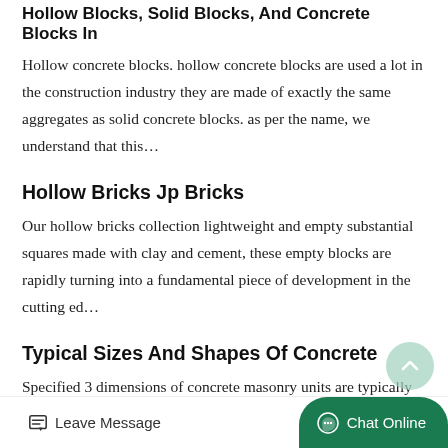Hollow Blocks, Solid Blocks, And Concrete Blocks In
Hollow concrete blocks. hollow concrete blocks are used a lot in the construction industry they are made of exactly the same aggregates as solid concrete blocks. as per the name, we understand that this…
Hollow Bricks Jp Bricks
Our hollow bricks collection lightweight and empty substantial squares made with clay and cement, these empty blocks are rapidly turning into a fundamental piece of development in the cutting ed…
Typical Sizes And Shapes Of Concrete
Specified 3 dimensions of concrete masonry units are typically 38 in. (9.5 mm) less than nominal dimensions, so that a 4 or 8 in. (102 3 or 203 mm) module is maintained with 38 in. (9.5 mm) mortar
Leave Message   Chat Online